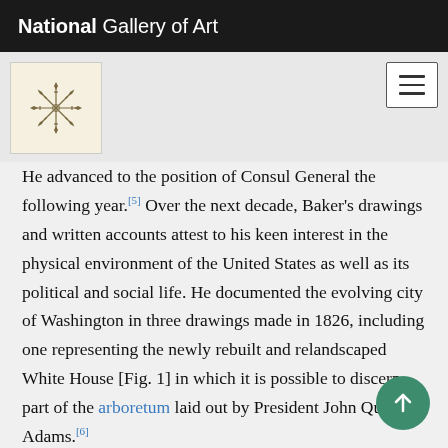National Gallery of Art
[Figure (logo): National Gallery of Art circular logo with geometric star/snowflake pattern on cream background]
He advanced to the position of Consul General the following year.[5] Over the next decade, Baker's drawings and written accounts attest to his keen interest in the physical environment of the United States as well as its political and social life. He documented the evolving city of Washington in three drawings made in 1826, including one representing the newly rebuilt and relandscaped White House [Fig. 1] in which it is possible to discern part of the arboretum laid out by President John Quincy Adams.[6]
Baker also created verbal and visual accounts of the country seats of prominent American families. Around